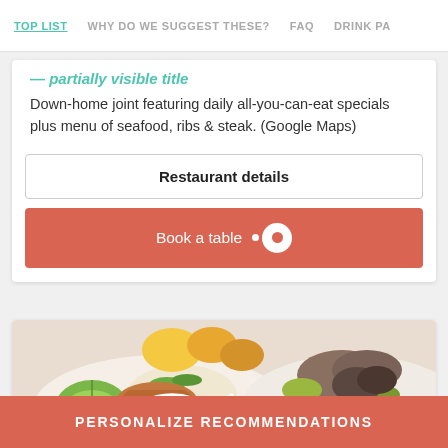TOP LIST  WHY DO WE SUGGEST THESE?  FAQ  DRINK PA
Down-home joint featuring daily all-you-can-eat specials plus menu of seafood, ribs & steak. (Google Maps)
Restaurant details
Book a table
[Figure (photo): Food photo showing plates with tacos, seafood, and garnishes including lime wedges]
PERSONALIZE RECOMMENDATIONS